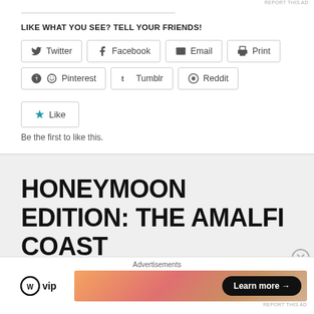LIKE WHAT YOU SEE? TELL YOUR FRIENDS!
Twitter
Facebook
Email
Print
Pinterest
Tumblr
Reddit
Like
Be the first to like this.
HONEYMOON EDITION: THE AMALFI COAST
Advertisements